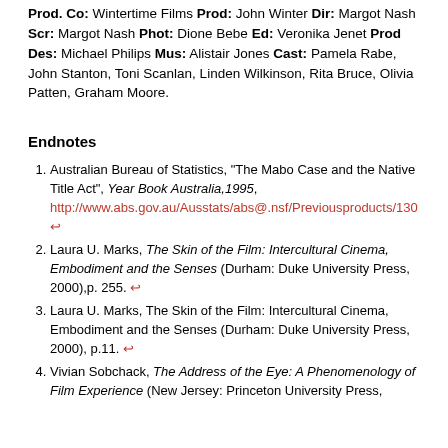Prod. Co: Wintertime Films Prod: John Winter Dir: Margot Nash Scr: Margot Nash Phot: Dione Bebe Ed: Veronika Jenet Prod Des: Michael Philips Mus: Alistair Jones Cast: Pamela Rabe, John Stanton, Toni Scanlan, Linden Wilkinson, Rita Bruce, Olivia Patten, Graham Moore.
Endnotes
Australian Bureau of Statistics, "The Mabo Case and the Native Title Act", Year Book Australia,1995, http://www.abs.gov.au/Ausstats/abs@.nsf/Previousproducts/130 ↩
Laura U. Marks, The Skin of the Film: Intercultural Cinema, Embodiment and the Senses (Durham: Duke University Press, 2000),p. 255. ↩
Laura U. Marks, The Skin of the Film: Intercultural Cinema, Embodiment and the Senses (Durham: Duke University Press, 2000), p.11. ↩
Vivian Sobchack, The Address of the Eye: A Phenomenology of Film Experience (New Jersey: Princeton University Press,